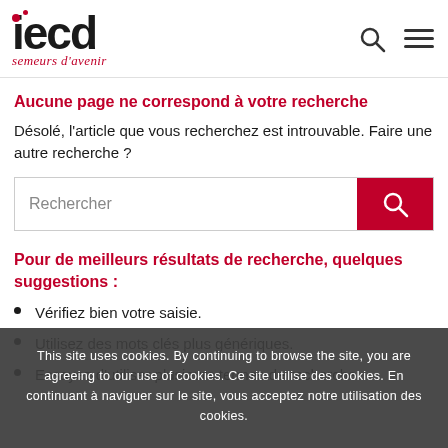[Figure (logo): IECD logo with red dots and 'semeurs d'avenir' tagline in red italic]
Aucune page ne correspond à votre recherche
Désolé, l'article que vous recherchez est introuvable. Faire une autre recherche ?
[Figure (other): Search input bar with red search button]
Pour de meilleurs résultats de recherche, quelques suggestions :
Vérifiez bien votre saisie.
Utilisez des mots clés plus génériques.
Essayez d'utiliser plusieurs termes de recherche.
This site uses cookies. By continuing to browse the site, you are agreeing to our use of cookies. Ce site utilise des cookies. En continuant à naviguer sur le site, vous acceptez notre utilisation des cookies.